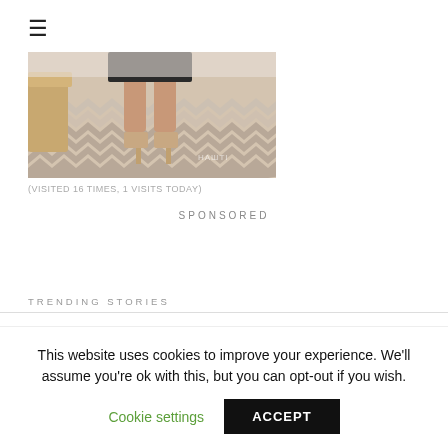≡
[Figure (photo): Person standing on chevron patterned floor wearing heels, lower body visible, indoor setting with wooden furniture]
(VISITED 16 TIMES, 1 VISITS TODAY)
SPONSORED
TRENDING STORIES
This website uses cookies to improve your experience. We'll assume you're ok with this, but you can opt-out if you wish. Cookie settings ACCEPT